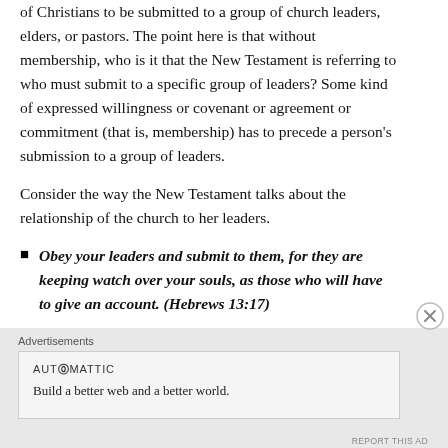of Christians to be submitted to a group of church leaders, elders, or pastors. The point here is that without membership, who is it that the New Testament is referring to who must submit to a specific group of leaders? Some kind of expressed willingness or covenant or agreement or commitment (that is, membership) has to precede a person's submission to a group of leaders.
Consider the way the New Testament talks about the relationship of the church to her leaders.
Obey your leaders and submit to them, for they are keeping watch over your souls, as those who will have to give an account. (Hebrews 13:17)